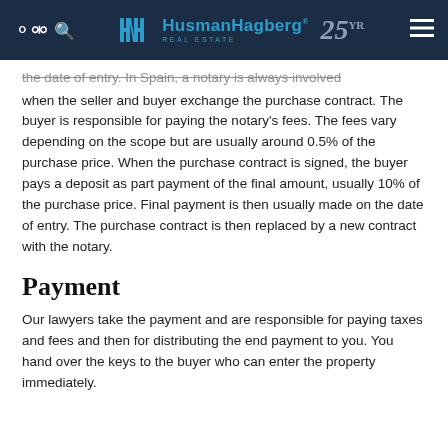HusmanHagberg Real Estate — 25 Years
the date of entry. In Spain, a notary is always involved when the seller and buyer exchange the purchase contract. The buyer is responsible for paying the notary's fees. The fees vary depending on the scope but are usually around 0.5% of the purchase price. When the purchase contract is signed, the buyer pays a deposit as part payment of the final amount, usually 10% of the purchase price. Final payment is then usually made on the date of entry. The purchase contract is then replaced by a new contract with the notary.
Payment
Our lawyers take the payment and are responsible for paying taxes and fees and then for distributing the end payment to you. You hand over the keys to the buyer who can enter the property immediately.